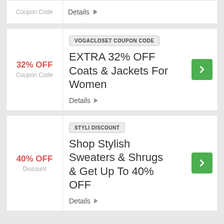Coupon Code
Details
VOGACLOSET COUPON CODE
32% OFF
Coupon Code
EXTRA 32% OFF Coats & Jackets For Women
Details
STYLI DISCOUNT
40% OFF
Discount
Shop Stylish Sweaters & Shrugs & Get Up To 40% OFF
Details